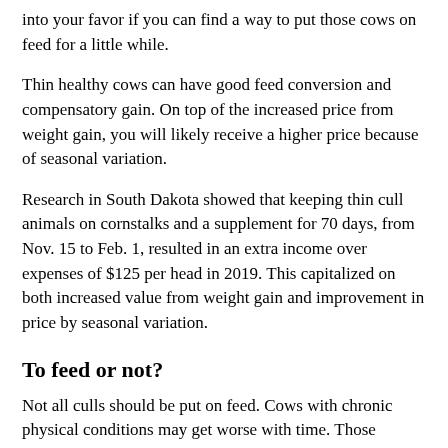into your favor if you can find a way to put those cows on feed for a little while.
Thin healthy cows can have good feed conversion and compensatory gain. On top of the increased price from weight gain, you will likely receive a higher price because of seasonal variation.
Research in South Dakota showed that keeping thin cull animals on cornstalks and a supplement for 70 days, from Nov. 15 to Feb. 1, resulted in an extra income over expenses of $125 per head in 2019. This capitalized on both increased value from weight gain and improvement in price by seasonal variation.
To feed or not?
Not all culls should be put on feed. Cows with chronic physical conditions may get worse with time. Those animals should be marketed as soon as possible. Cows with a high BCS will probably cost more to feed than any price increase that may come from seasonal variations. There likely is not an advantage of additional gain on these animals.
Finally, if you are in a seasonal high for the market, such as in July, additional feed costs of keeping culls for another 70-90 days and